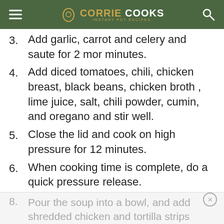CORRIE COOKS
3. Add garlic, carrot and celery and saute for 2 mor minutes.
4. Add diced tomatoes, chili, chicken breast, black beans, chicken broth , lime juice, salt, chili powder, cumin, and oregano and stir well.
5. Close the lid and cook on high pressure for 12 minutes.
6. When cooking time is complete, do a quick pressure release.
7. Take out the chicken and shred it.
8. Pour the soup into a bowl, and add shredded chicken and tortilla strips